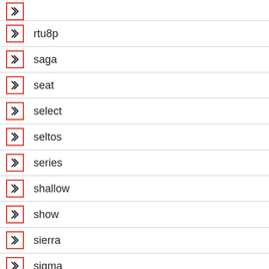rtu8p
saga
seat
select
seltos
series
shallow
show
sierra
sigma